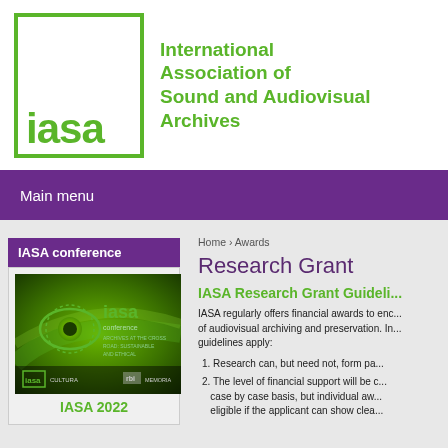[Figure (logo): IASA logo: green box with 'iasa' text inside, next to green text 'International Association of Sound and Audiovisual Archives']
Main menu
IASA conference
[Figure (photo): IASA 2022 conference promotional image with green gradient background and iasa logo]
IASA 2022
Home › Awards
Research Grant
IASA Research Grant Guideli...
IASA regularly offers financial awards to enc... of audiovisual archiving and preservation. In... guidelines apply:
1. Research can, but need not, form pa...
2. The level of financial support will be c... case by case basis, but individual aw... eligible if the applicant can show clea...